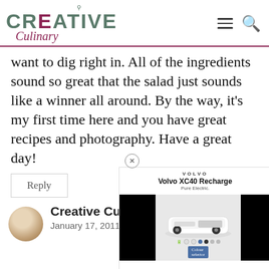Creative Culinary
want to dig right in. All of the ingredients sound so great that the salad just sounds like a winner all around. By the way, it’s my first time here and you have great recipes and photography. Have a great day!
Reply
[Figure (screenshot): Volvo XC40 Recharge advertisement overlay with black side panels and car image]
Creative Culinary says:
January 17, 2011 at 4:39 pm